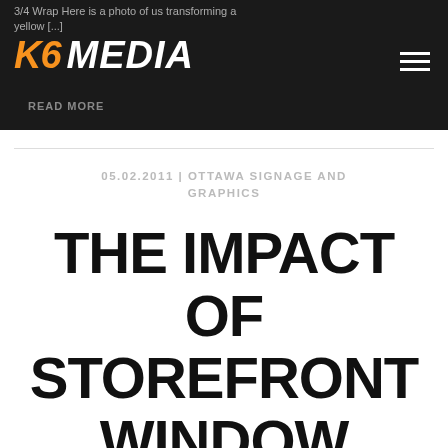3/4 Wrap Here is a photo of us transforming a yellow [...] READ MORE
05.02.2011 | OTTAWA SIGNAGE AND GRAPHICS
THE IMPACT OF STOREFRONT WINDOW GRAPHICS